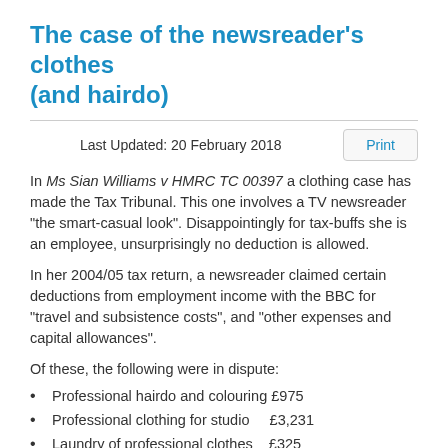The case of the newsreader's clothes (and hairdo)
Last Updated: 20 February 2018
In Ms Sian Williams v HMRC TC 00397 a clothing case has made the Tax Tribunal. This one involves a TV newsreader "the smart-casual look". Disappointingly for tax-buffs she is an employee, unsurprisingly no deduction is allowed.
In her 2004/05 tax return, a newsreader claimed certain deductions from employment income with the BBC for "travel and subsistence costs", and "other expenses and capital allowances".
Of these, the following were in dispute:
Professional hairdo and colouring £975
Professional clothing for studio    £3,231
Laundry of professional clothes    £325
She also claimed that as a taxpayer she had the right to be treated fairly, HMRC should offer details of the amounts...